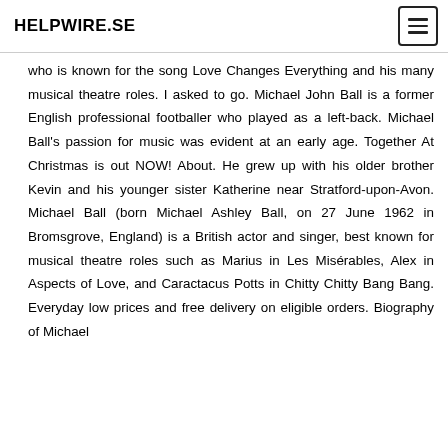HELPWIRE.SE
who is known for the song Love Changes Everything and his many musical theatre roles. I asked to go. Michael John Ball is a former English professional footballer who played as a left-back. Michael Ball's passion for music was evident at an early age. Together At Christmas is out NOW! About. He grew up with his older brother Kevin and his younger sister Katherine near Stratford-upon-Avon. Michael Ball (born Michael Ashley Ball, on 27 June 1962 in Bromsgrove, England) is a British actor and singer, best known for musical theatre roles such as Marius in Les Misérables, Alex in Aspects of Love, and Caractacus Potts in Chitty Chitty Bang Bang. Everyday low prices and free delivery on eligible orders. Biography of Michael